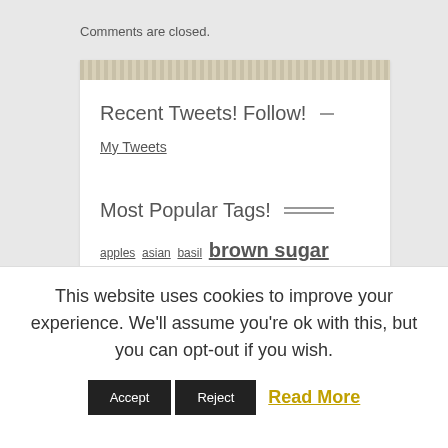Comments are closed.
Recent Tweets! Follow!
My Tweets
Most Popular Tags!
apples asian basil brown sugar butter carrots cayenne pepper chicken
This website uses cookies to improve your experience. We'll assume you're ok with this, but you can opt-out if you wish.
Accept  Reject  Read More